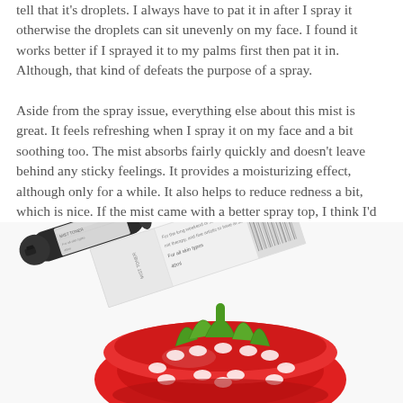tell that it's droplets. I always have to pat it in after I spray it otherwise the droplets can sit unevenly on my face. I found it works better if I sprayed it to my palms first then pat it in. Although, that kind of defeats the purpose of a spray.
Aside from the spray issue, everything else about this mist is great. It feels refreshing when I spray it on my face and a bit soothing too. The mist absorbs fairly quickly and doesn't leave behind any sticky feelings. It provides a moisturizing effect, although only for a while. It also helps to reduce redness a bit, which is nice. If the mist came with a better spray top, I think I'd like it more.
[Figure (photo): A photo of a skincare mist spray bottle lying on its side next to its white packaging box, placed on top of a red strawberry-shaped ceramic bowl with white oval holes and a green stem top.]